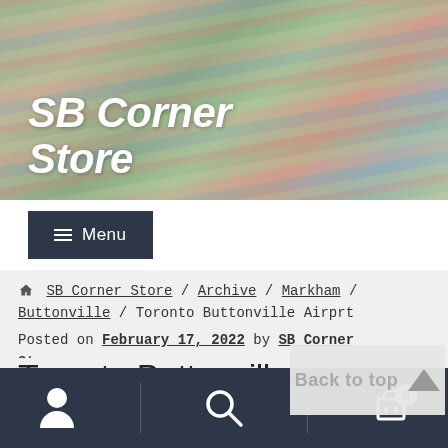SB Corner Store
Menu
🏠 SB Corner Store / Archive / Markham / Buttonville / Toronto Buttonville Airprt
Posted on February 17, 2022 by SB Corner Store
Toronto Buttonville
Back to top
person icon | search icon | cart icon (0)